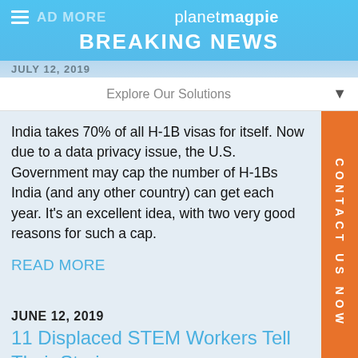planetmagpie BREAKING NEWS
JULY 12, 2019
Explore Our Solutions
India takes 70% of all H-1B visas for itself. Now due to a data privacy issue, the U.S. Government may cap the number of H-1Bs India (and any other country) can get each year. It's an excellent idea, with two very good reasons for such a cap.
READ MORE
JUNE 12, 2019
11 Displaced STEM Workers Tell Their Stories
The H-1B program has transformed from a "skilled supplement" to the American STEM workforce, to a me…